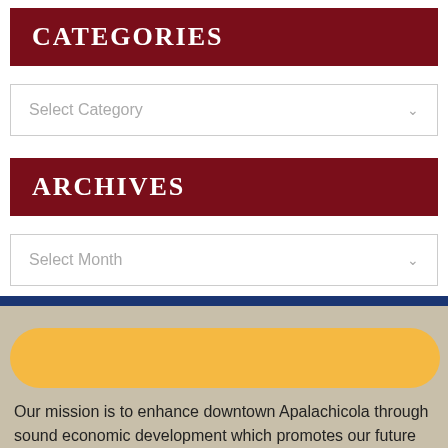CATEGORIES
[Figure (other): A dropdown select box with placeholder text 'Select Category' and a chevron arrow]
ARCHIVES
[Figure (other): A dropdown select box with placeholder text 'Select Month' and a chevron arrow]
[Figure (other): A yellow/gold pill-shaped button element in a tan/beige footer section below a blue horizontal bar]
Our mission is to enhance downtown Apalachicola through sound economic development which promotes our future